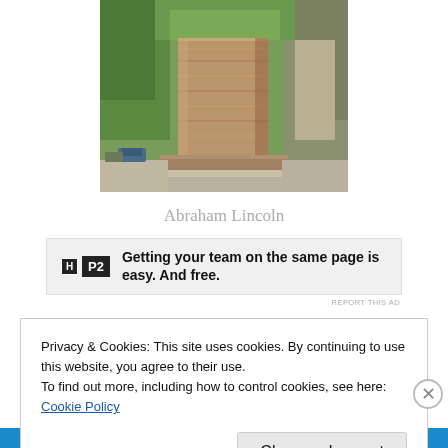[Figure (photo): Photograph of a stone column base or pedestal at the Abraham Lincoln monument/memorial, with green trees in the background and a concrete surface below.]
Abraham Lincoln
[Figure (other): Advertisement banner for P2 service: 'Getting your team on the same page is easy. And free.']
REPORT THIS AD
Privacy & Cookies: This site uses cookies. By continuing to use this website, you agree to their use.
To find out more, including how to control cookies, see here: Cookie Policy
Close and accept